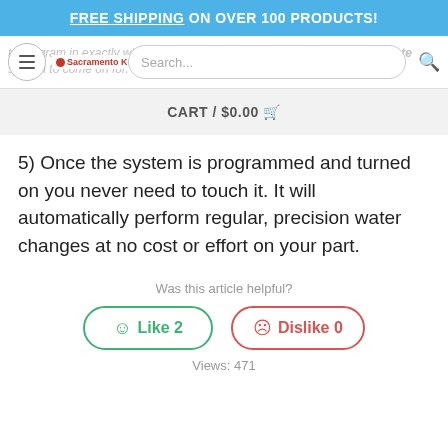FREE SHIPPING ON OVER 100 PRODUCTS!
[Figure (screenshot): Navigation bar with hamburger menu, Sacramento Koi logo, search bar, and search icon. Background shows blurred text about programming the system.]
CART / $0.00
5) Once the system is programmed and turned on you never need to touch it. It will automatically perform regular, precision water changes at no cost or effort on your part.
Was this article helpful?
Like 2
Dislike 0
Views: 471